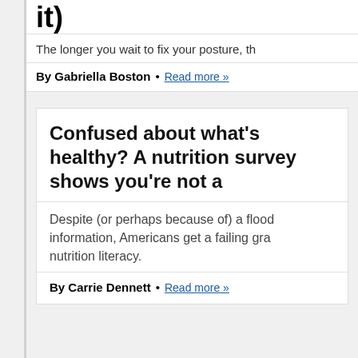it)
The longer you wait to fix your posture, th
By Gabriella Boston • Read more »
Confused about what's healthy? A nutrition survey shows you're not a
Despite (or perhaps because of) a flood of information, Americans get a failing grade on nutrition literacy.
By Carrie Dennett • Read more »